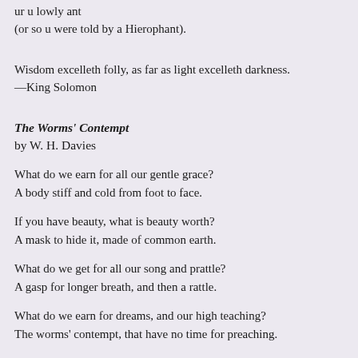ur u lowly ant
(or so u were told by a Hierophant).
Wisdom excelleth folly, as far as light excelleth darkness.
—King Solomon
The Worms' Contempt
by W. H. Davies
What do we earn for all our gentle grace?
A body stiff and cold from foot to face.
If you have beauty, what is beauty worth?
A mask to hide it, made of common earth.
What do we get for all our song and prattle?
A gasp for longer breath, and then a rattle.
What do we earn for dreams, and our high teaching?
The worms' contempt, that have no time for preaching.